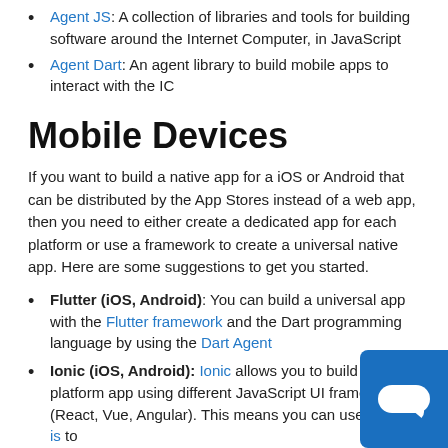Agent JS: A collection of libraries and tools for building software around the Internet Computer, in JavaScript
Agent Dart: An agent library to build mobile apps to interact with the IC
Mobile Devices
If you want to build a native app for a iOS or Android that can be distributed by the App Stores instead of a web app, then you need to either create a dedicated app for each platform or use a framework to create a universal native app. Here are some suggestions to get you started.
Flutter (iOS, Android): You can build a universal app with the Flutter framework and the Dart programming language by using the Dart Agent
Ionic (iOS, Android): Ionic allows you to build your platform app using different JavaScript UI frameworks (React, Vue, Angular). This means you can use agent-is to